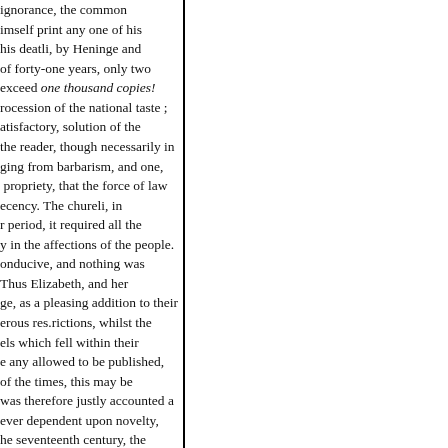ignorance, the common imself print any one of his his deatli, by Heninge and of forty-one years, only two exceed one thousand copies! rocession of the national taste ; atisfactory, solution of the the reader, though necessarily in ging from barbarism, and one, propriety, that the force of law ecency. The chureli, in r period, it required all the y in the affections of the people. onducive, and nothing was Thus Elizabeth, and her ge, as a pleasing addition to their erous res.rictions, whilst the els which fell within their e any allowed to be published, of the times, this may be was therefore justly accounted a ever dependent upon novelty, he seventeenth century, the on, equally conspicuous for its